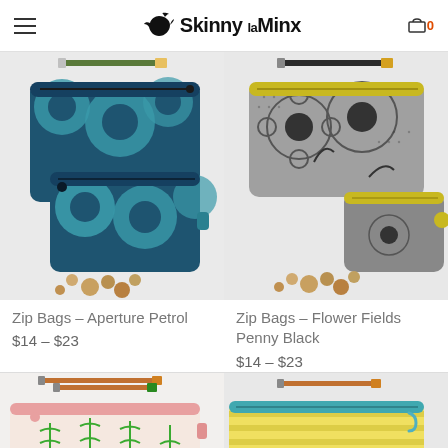Skinny laMinx — navigation header with hamburger menu and cart (0 items)
[Figure (photo): Zip bag set in Aperture Petrol fabric — teal/blue geometric pattern pouches with coins scattered nearby and a pencil on top]
Zip Bags – Aperture Petrol
$14 – $23
[Figure (photo): Zip bag set in Flower Fields Penny Black fabric — grey floral pattern pouches with coins scattered nearby and a pencil on top]
Zip Bags – Flower Fields Penny Black
$14 – $23
[Figure (photo): Partially visible zip bag in green plant/stem pattern on light background with pencils on top]
[Figure (photo): Partially visible zip bag in yellow stripe pattern with teal zipper on light background with pencil on top]